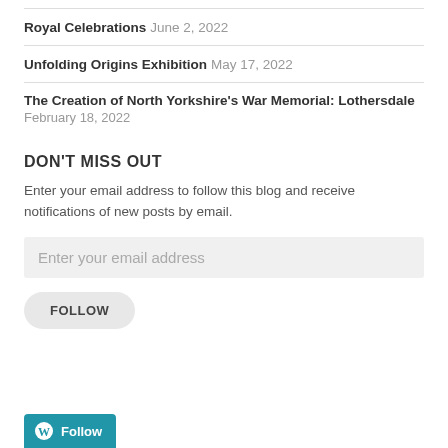Royal Celebrations June 2, 2022
Unfolding Origins Exhibition May 17, 2022
The Creation of North Yorkshire's War Memorial: Lothersdale February 18, 2022
DON'T MISS OUT
Enter your email address to follow this blog and receive notifications of new posts by email.
Enter your email address
FOLLOW
Follow